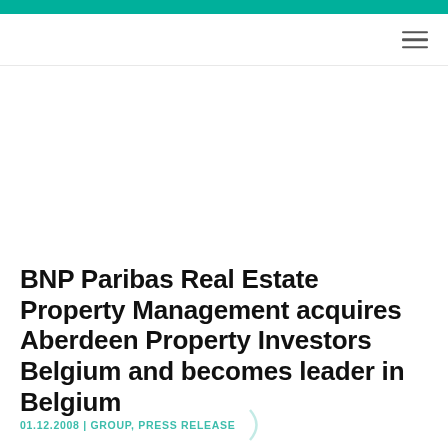BNP Paribas Real Estate Property Management acquires Aberdeen Property Investors Belgium and becomes leader in Belgium
01.12.2008 | GROUP, PRESS RELEASE